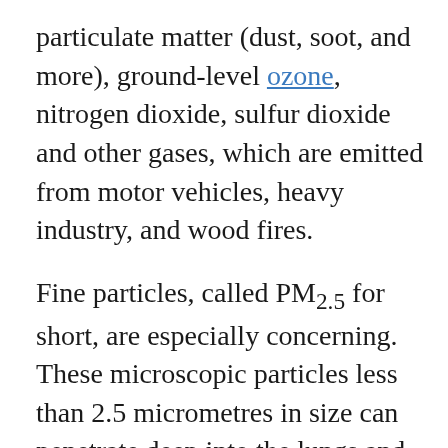particulate matter (dust, soot, and more), ground-level ozone, nitrogen dioxide, sulfur dioxide and other gases, which are emitted from motor vehicles, heavy industry, and wood fires.
Fine particles, called PM2.5 for short, are especially concerning. These microscopic particles less than 2.5 micrometres in size can penetrate deep into the lungs and enter the bloodstream, causing inflammation around the body.